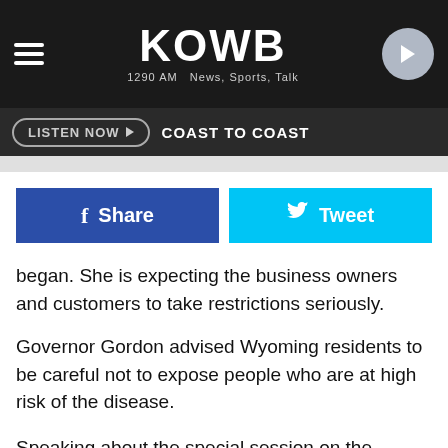KOWB 1290 AM News, Sports, Talk
LISTEN NOW ▶   COAST TO COAST
[Figure (infographic): Facebook Share button (blue) and Twitter Tweet button (cyan) side by side]
began. She is expecting the business owners and customers to take restrictions seriously.
Governor Gordon advised Wyoming residents to be careful not to expose people who are at high risk of the disease.
Speaking about the special session on the Wyoming Legislature, the governor signed the proclamation which would call the legislature to meet on May 15 during the briefing. They would be going over funding and where it would go.
Governor Gordon stated that the state is working diligently to